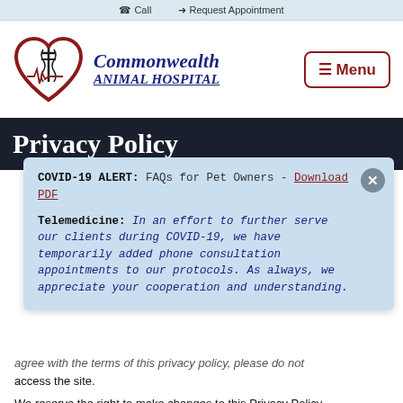Call  /  Request Appointment
[Figure (logo): Commonwealth Animal Hospital logo: a dark red heart outline with a veterinary caduceus symbol and heartbeat line inside, with blue italic bold text reading 'Commonwealth ANIMAL HOSPITAL']
Menu
Privacy Policy
COVID-19 ALERT: FAQs for Pet Owners - Download PDF

Telemedicine: In an effort to further serve our clients during COVID-19, we have temporarily added phone consultation appointments to our protocols. As always, we appreciate your cooperation and understanding.
agree with the terms of this privacy policy, please do not access the site.
We reserve the right to make changes to this Privacy Policy